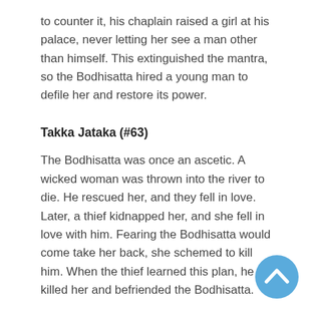to counter it, his chaplain raised a girl at his palace, never letting her see a man other than himself. This extinguished the mantra, so the Bodhisatta hired a young man to defile her and restore its power.
Takka Jataka (#63)
The Bodhisatta was once an ascetic. A wicked woman was thrown into the river to die. He rescued her, and they fell in love. Later, a thief kidnapped her, and she fell in love with him. Fearing the Bodhisatta would come take her back, she schemed to kill him. When the thief learned this plan, he killed her and befriended the Bodhisatta.